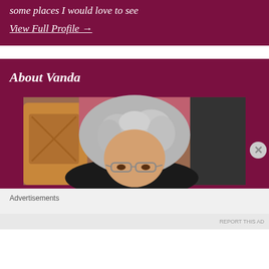some places I would love to see
View Full Profile →
About Vanda
[Figure (photo): Close-up photo of an older woman with curly gray hair and glasses, sitting indoors near chairs]
Advertisements